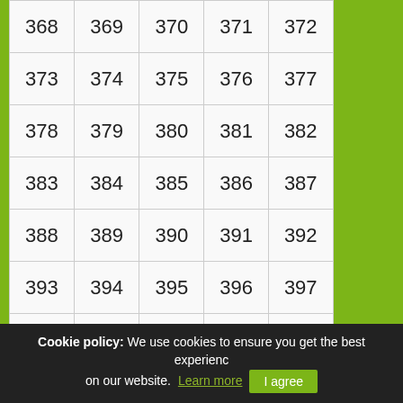| 368 | 369 | 370 | 371 | 372 |  |
| 373 | 374 | 375 | 376 | 377 |  |
| 378 | 379 | 380 | 381 | 382 |  |
| 383 | 384 | 385 | 386 | 387 |  |
| 388 | 389 | 390 | 391 | 392 |  |
| 393 | 394 | 395 | 396 | 397 |  |
| 398 | 399 | 400 | 401 | 402 |  |
| 403 | 404 | 405 | 406 | 407 |  |
| 408 | 409 | 410 | 411 | 412 |  |
| 413 | 414 | 415 | 416 | 417 |  |
| 418 | 419 | 420 | 421 | 422 |  |
| 423 | 424 | 425 | 426 | 427 |  |
| 428 | Next |  |  |  |  |
Cookie policy: We use cookies to ensure you get the best experience on our website. Learn more  I agree